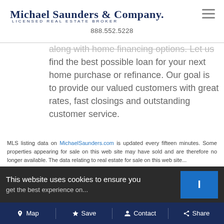Michael Saunders & Company. LICENSED REAL ESTATE BROKER 888.552.5228
along with home financing options. Let us find the best possible loan for your next home purchase or refinance. Our goal is to provide our valued customers with great rates, fast closings and outstanding customer service.
MLS listing data on MichaelSaunders.com is updated every fifteen minutes. Some properties appearing for sale on this web site may have sold and are therefore no longer available. The data relating to real estate for sale on this web site...
This website uses cookies to ensure you get the best experience on...
Map  Save  Contact  Share